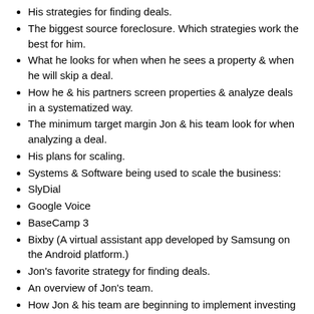His strategies for finding deals.
The biggest source foreclosure. Which strategies work the best for him.
What he looks for when when he sees a property & when he will skip a deal.
How he & his partners screen properties & analyze deals in a systematized way.
The minimum target margin Jon & his team look for when analyzing a deal.
His plans for scaling.
Systems & Software being used to scale the business:
SlyDial
Google Voice
BaseCamp 3
Bixby (A virtual assistant app developed by Samsung on the Android platform.)
Jon's favorite strategy for finding deals.
An overview of Jon's team.
How Jon & his team are beginning to implement investing in "Rent To Own" deals.
How they are seeking to solve seller's problems.
How & why his team works to protect & guide the RTO buyer towards closing.
Jon goes over his worst deal, why the rehab took too long & went way over budget leading him and his team, along with his advice on